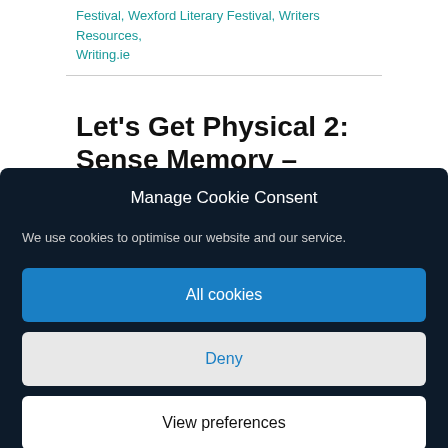Festival, Wexford Literary Festival, Writers Resources, Writing.ie
Let's Get Physical 2: Sense Memory –
Manage Cookie Consent
We use cookies to optimise our website and our service.
All cookies
Deny
View preferences
Cookie policy   Legal Notices and Privacy Policy